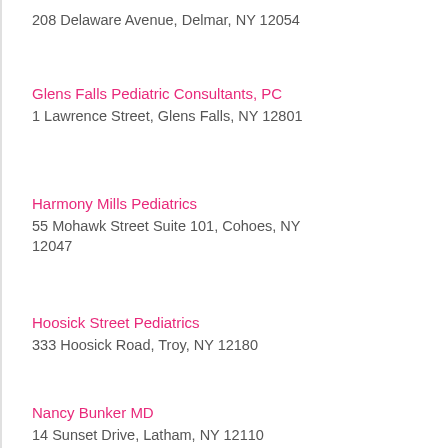208 Delaware Avenue, Delmar, NY 12054
Glens Falls Pediatric Consultants, PC
1 Lawrence Street, Glens Falls, NY 12801
Harmony Mills Pediatrics
55 Mohawk Street Suite 101, Cohoes, NY 12047
Hoosick Street Pediatrics
333 Hoosick Road, Troy, NY 12180
Nancy Bunker MD
14 Sunset Drive, Latham, NY 12110